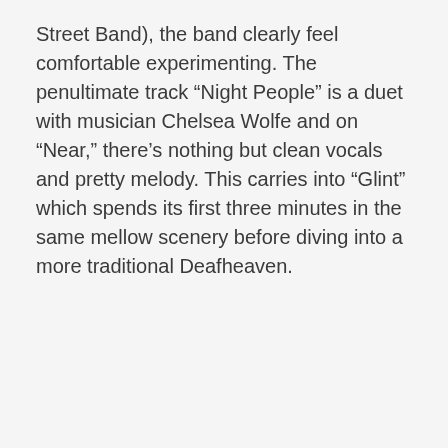Street Band), the band clearly feel comfortable experimenting. The penultimate track “Night People” is a duet with musician Chelsea Wolfe and on “Near,” there’s nothing but clean vocals and pretty melody. This carries into “Glint” which spends its first three minutes in the same mellow scenery before diving into a more traditional Deafheaven.